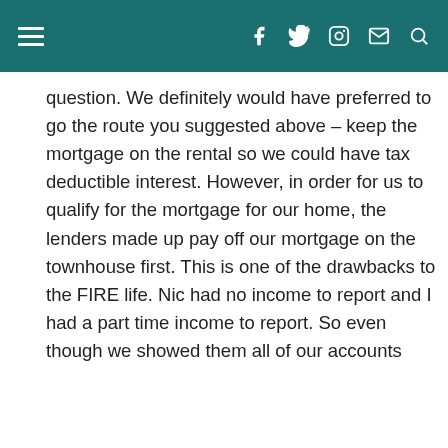question. We definitely would have preferred to go the route you suggested above – keep the mortgage on the rental so we could have tax deductible interest. However, in order for us to qualify for the mortgage for our home, the lenders made up pay off our mortgage on the townhouse first. This is one of the drawbacks to the FIRE life. Nic had no income to report and I had a part time income to report. So even though we showed them all of our accounts